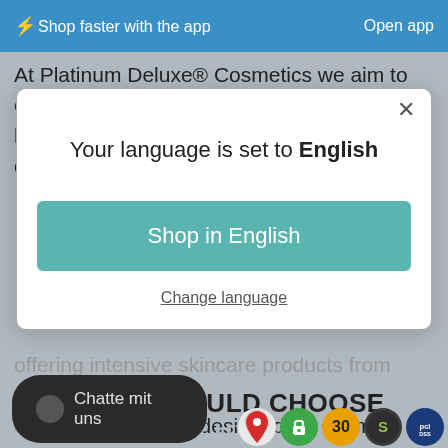⚡Shop faster with the app    Open app
At Platinum Deluxe® Cosmetics we aim to enhance and maximise your beauty with a line of luxury cosmetics at the highest of quality. Using only the purest and richest
Your language is set to English
Shop in English
Change language
offering intensive skincare products from face creams to lipsticks, that are designed for optimum benefits.
WHY YOU SHOULD CHOOSE
PLATINUM DELUXE® · IA
Chatte mit uns